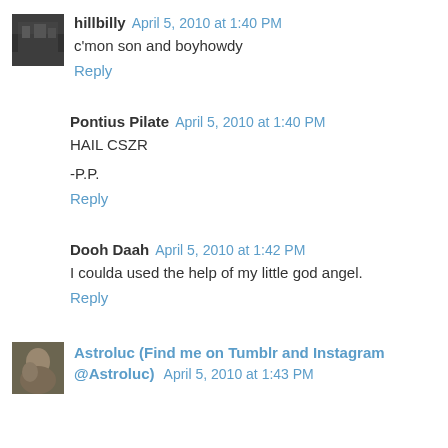[Figure (photo): Small avatar image for user hillbilly, appears dark/outdoors themed]
hillbilly April 5, 2010 at 1:40 PM
c'mon son and boyhowdy
Reply
Pontius Pilate April 5, 2010 at 1:40 PM
HAIL CSZR
-P.P.
Reply
Dooh Daah April 5, 2010 at 1:42 PM
I coulda used the help of my little god angel.
Reply
[Figure (photo): Small avatar image for user Astroluc, appears to show a person]
Astroluc (Find me on Tumblr and Instagram @Astroluc) April 5, 2010 at 1:43 PM